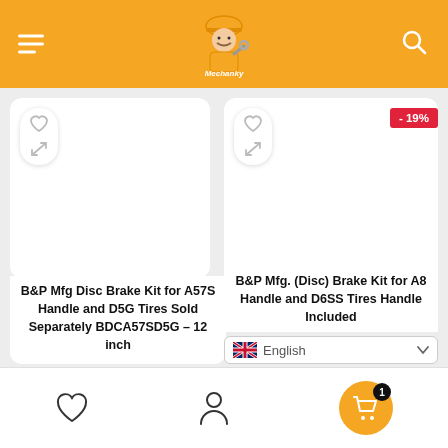[Figure (screenshot): E-commerce website header with orange background, hamburger menu on left, mechanic logo/mascot in center reading 'Mechanky', search icon on right]
B&P Mfg Disc Brake Kit for A57S Handle and D5G Tires Sold Separately BDCA57SD5G – 12 inch
B&P Mfg. (Disc) Brake Kit for A8 Handle and D6SS Tires Handle Included
- 19%
English